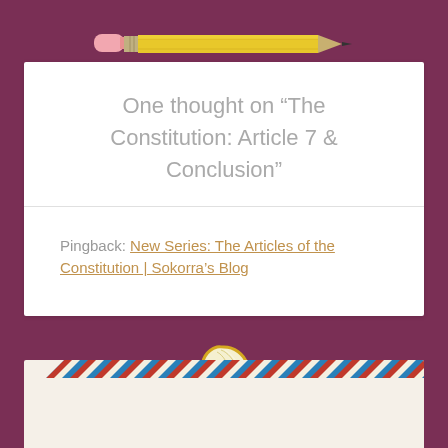[Figure (illustration): Yellow pencil illustration on purple background at the top of the page]
One thought on “The Constitution: Article 7 & Conclusion”
Pingback: New Series: The Articles of the Constitution | Sokorra’s Blog
[Figure (illustration): Pencil shaving/curled wood shaving illustration on purple background]
[Figure (illustration): Airmail envelope illustration at the bottom of the page with diagonal red and blue stripes]